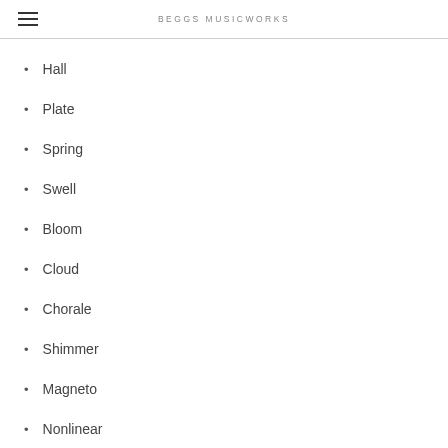BEGGS MUSICWORKS
Hall
Plate
Spring
Swell
Bloom
Cloud
Chorale
Shimmer
Magneto
Nonlinear